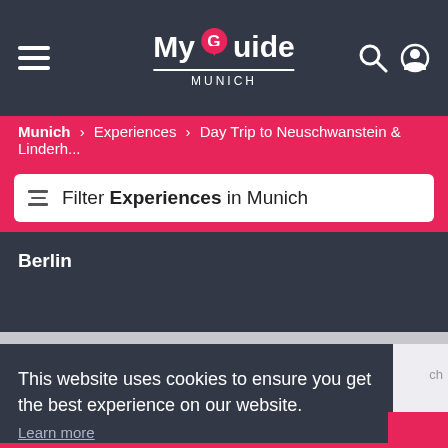My Guide MUNICH
Munich > Experiences > Day Trip to Neuschwanstein & Linderh...
Filter Experiences in Munich
Berlin
This website uses cookies to ensure you get the best experience on our website.
Learn more
Got it!